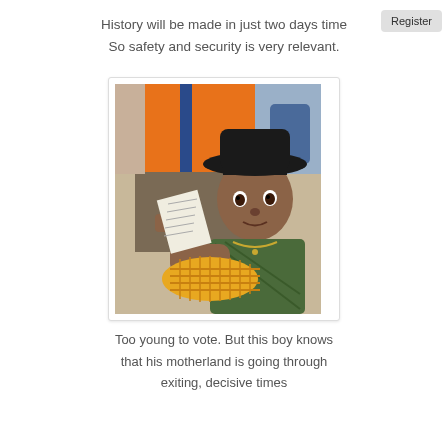History will be made in just two days time
So safety and security is very relevant.
[Figure (photo): A young boy wearing a black hat and green shirt holds an ear of corn. An adult in an orange safety vest stands behind him. The boy holds what appears to be a document or paper.]
Too young to vote. But this boy knows that his motherland is going through exiting, decisive times